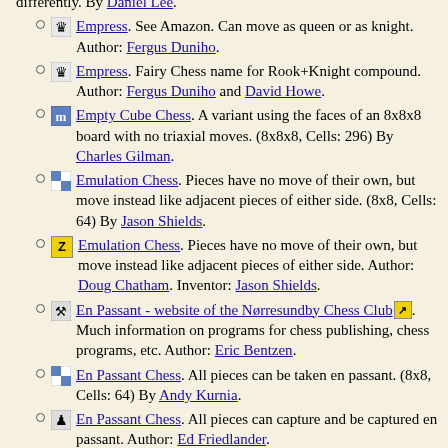differently. By Daniel Lee.
Empress. See Amazon. Can move as queen or as knight. Author: Fergus Duniho.
Empress. Fairy Chess name for Rook+Knight compound. Author: Fergus Duniho and David Howe.
Empty Cube Chess. A variant using the faces of an 8x8x8 board with no triaxial moves. (8x8x8, Cells: 296) By Charles Gilman.
Emulation Chess. Pieces have no move of their own, but move instead like adjacent pieces of either side. (8x8, Cells: 64) By Jason Shields.
Emulation Chess. Pieces have no move of their own, but move instead like adjacent pieces of either side. Author: Doug Chatham. Inventor: Jason Shields.
En Passant - website of the Nørresundby Chess Club. Much information on programs for chess publishing, chess programs, etc. Author: Eric Bentzen.
En Passant Chess. All pieces can be taken en passant. (8x8, Cells: 64) By Andy Kurnia.
En Passant Chess. All pieces can capture and be captured en passant. Author: Ed Friedlander.
En passant Chess. Orthodox chess on a shortened board of only 7 rows. Encourages more en